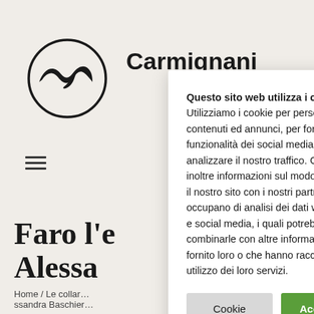[Figure (logo): Circular wave logo (Carmignani brand) — black outline of a stylized ocean wave inside a circle]
Carmignani
Faro l'e… / Alessa…
Home / Le collar… / ssandra Baschier…
Questo sito web utilizza i cookie Utilizziamo i cookie per personalizzare contenuti ed annunci, per fornire funzionalità dei social media e per analizzare il nostro traffico. Condividiamo inoltre informazioni sul modo in cui utilizza il nostro sito con i nostri partner che si occupano di analisi dei dati web, pubblicità e social media, i quali potrebbero combinarle con altre informazioni che ha fornito loro o che hanno raccolto dal suo utilizzo dei loro servizi.
Cookie Settings
Accetta Tutti